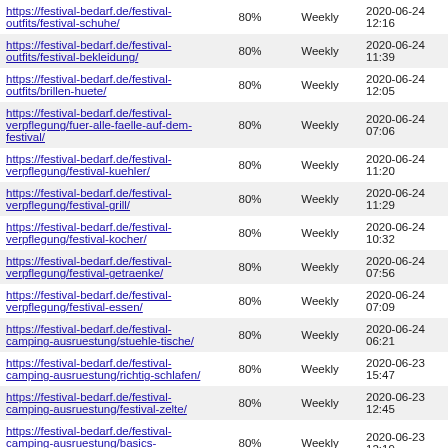| URL | Priority | Change Freq | Last Modified |
| --- | --- | --- | --- |
| https://festival-bedarf.de/festival-outfits/festival-schuhe/ | 80% | Weekly | 2020-06-24 12:16 |
| https://festival-bedarf.de/festival-outfits/festival-bekleidung/ | 80% | Weekly | 2020-06-24 11:39 |
| https://festival-bedarf.de/festival-outfits/brillen-huete/ | 80% | Weekly | 2020-06-24 12:05 |
| https://festival-bedarf.de/festival-verpflegung/fuer-alle-faelle-auf-dem-festival/ | 80% | Weekly | 2020-06-24 07:06 |
| https://festival-bedarf.de/festival-verpflegung/festival-kuehler/ | 80% | Weekly | 2020-06-24 11:20 |
| https://festival-bedarf.de/festival-verpflegung/festival-grill/ | 80% | Weekly | 2020-06-24 11:29 |
| https://festival-bedarf.de/festival-verpflegung/festival-kocher/ | 80% | Weekly | 2020-06-24 10:32 |
| https://festival-bedarf.de/festival-verpflegung/festival-getraenke/ | 80% | Weekly | 2020-06-24 07:56 |
| https://festival-bedarf.de/festival-verpflegung/festival-essen/ | 80% | Weekly | 2020-06-24 07:09 |
| https://festival-bedarf.de/festival-camping-ausruestung/stuehle-tische/ | 80% | Weekly | 2020-06-24 06:21 |
| https://festival-bedarf.de/festival-camping-ausruestung/richtig-schlafen/ | 80% | Weekly | 2020-06-23 15:47 |
| https://festival-bedarf.de/festival-camping-ausruestung/festival-zelte/ | 80% | Weekly | 2020-06-23 12:45 |
| https://festival-bedarf.de/festival-camping-ausruestung/basics-ausruestung/ | 80% | Weekly | 2020-06-23 12:19 |
| https://festival-bedarf.de/spass-gadgets/ | 80% | Weekly | 2020-07-17 08:09 |
| https://festival-bedarf.de/reduzierte-festival-angebote/ | 80% | Weekly | 2022-07-17 12:00 |